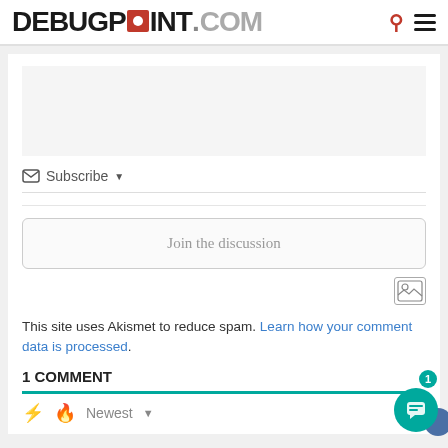DEBUGPOINT.COM
Subscribe ▾
Join the discussion
This site uses Akismet to reduce spam. Learn how your comment data is processed.
1 COMMENT
Newest ▾